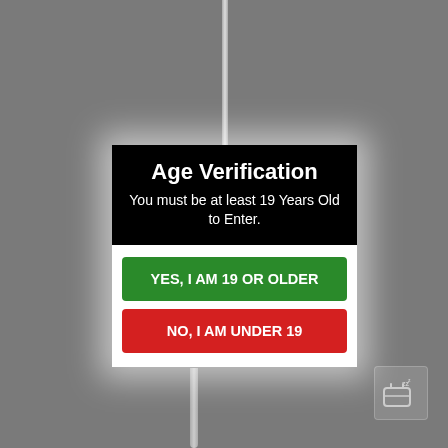Age Verification
You must be at least 19 Years Old to Enter.
YES, I AM 19 OR OLDER
NO, I AM UNDER 19